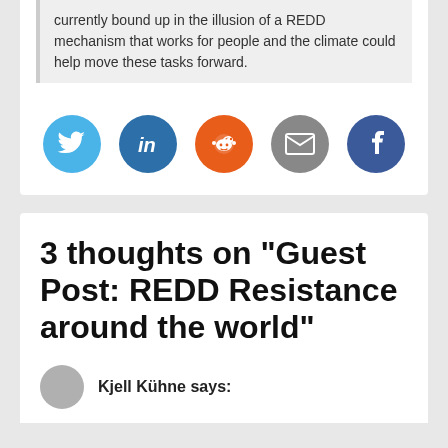currently bound up in the illusion of a REDD mechanism that works for people and the climate could help move these tasks forward.
[Figure (infographic): Five social sharing buttons in circles: Twitter (light blue), LinkedIn (dark blue), Reddit (orange), Email (gray), Facebook (dark blue)]
3 thoughts on “Guest Post: REDD Resistance around the world”
Kjell Kühne says: